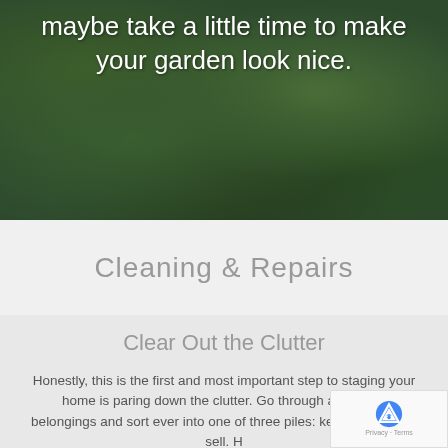[Figure (photo): Dark green garden foliage background image with overlaid white text]
maybe take a little time to make your garden look nice.
Cleaning & Repairs
Clear Out the Clutter
Honestly, this is the first and most important step to staging your home is paring down the clutter. Go through all of your belongings and sort every into one of three piles: keep, donate, or sell. H